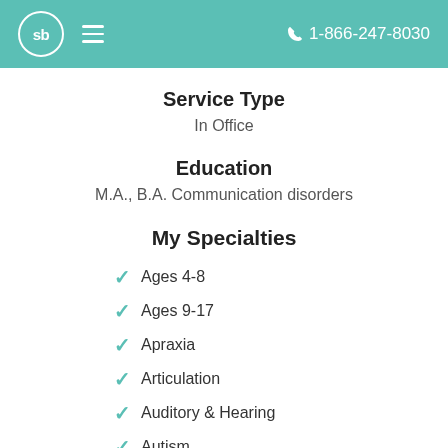sb  1-866-247-8030
Service Type
In Office
Education
M.A., B.A. Communication disorders
My Specialties
Ages 4-8
Ages 9-17
Apraxia
Articulation
Auditory & Hearing
Autism